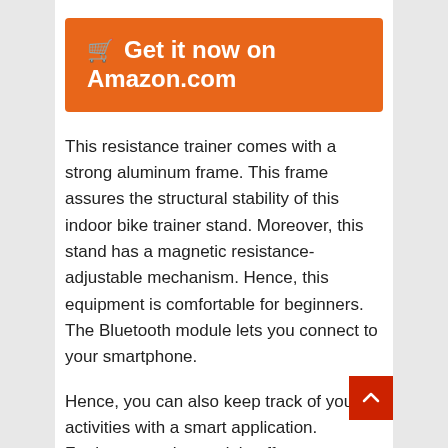🛒 Get it now on Amazon.com
This resistance trainer comes with a strong aluminum frame. This frame assures the structural stability of this indoor bike trainer stand. Moreover, this stand has a magnetic resistance-adjustable mechanism. Hence, this equipment is comfortable for beginners. The Bluetooth module lets you connect to your smartphone.
Hence, you can also keep track of your activities with a smart application. Furthermore, the module offers more or less accurate readings. This stand comes with a 15% climbing grade. The bike trainer is suitable for cycles with 26 to 27-inch wheels. Nevertheless, the trainer stand lets you cycle without producing excessive noises. You can easily